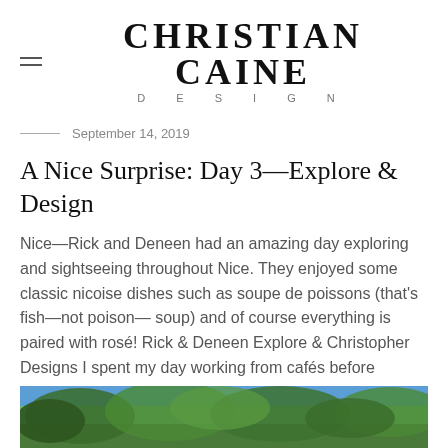CHRISTIAN CAINE DESIGN
September 14, 2019
A Nice Surprise: Day 3—Explore & Design
Nice—Rick and Deneen had an amazing day exploring and sightseeing throughout Nice. They enjoyed some classic nicoise dishes such as soupe de poissons (that's fish—not poison— soup) and of course everything is paired with rosé! Rick & Deneen Explore & Christopher Designs I spent my day working from cafés before spending a long evening at [...]
More →
[Figure (photo): Outdoor nature photo showing trees and foliage with blue sky, partially visible at bottom of page]